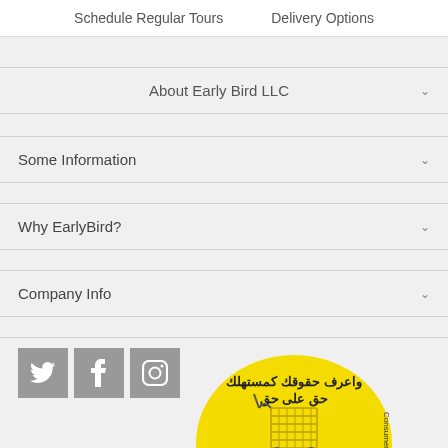Schedule Regular Tours   Delivery Options
About Early Bird LLC
Some Information
Why EarlyBird?
Company Info
[Figure (logo): Social media icons: Twitter, Facebook, Instagram in grey square buttons]
[Figure (illustration): Yellow circular badge with Arabic text and consumer rights information, shopping cart illustration, phone number 600 545555, text 'Be Ri[ghts]', 'Consumer Rights']